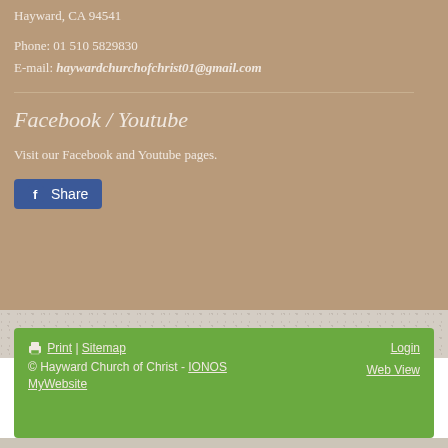Hayward, CA 94541
Phone: 01 510 5829830
E-mail: haywardchurchofchrist01@gmail.com
Facebook / Youtube
Visit our Facebook and Youtube pages.
[Figure (other): Facebook Share button with Facebook logo icon]
Print | Sitemap | Login | Web View | © Hayward Church of Christ - IONOS MyWebsite